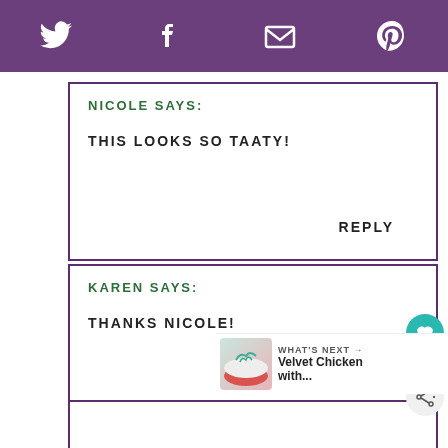Twitter Facebook Email Pinterest
NICOLE SAYS:
THIS LOOKS SO TAATY!
REPLY
KAREN SAYS:
THANKS NICOLE!
WHAT'S NEXT → Velvet Chicken with...